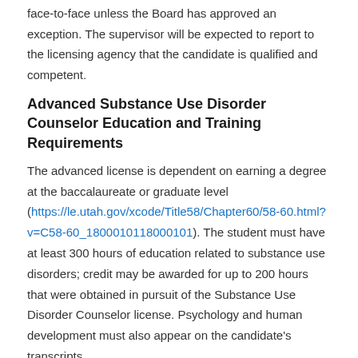face-to-face unless the Board has approved an exception. The supervisor will be expected to report to the licensing agency that the candidate is qualified and competent.
Advanced Substance Use Disorder Counselor Education and Training Requirements
The advanced license is dependent on earning a degree at the baccalaureate or graduate level (https://le.utah.gov/xcode/Title58/Chapter60/58-60.html?v=C58-60_1800010118000101). The student must have at least 300 hours of education related to substance use disorders; credit may be awarded for up to 200 hours that were obtained in pursuit of the Substance Use Disorder Counselor license. Psychology and human development must also appear on the candidate's transcripts.
The candidate will also need 350 hours of practicum prior to